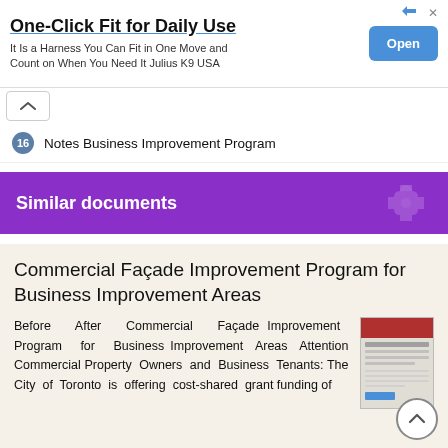[Figure (other): Advertisement banner: One-Click Fit for Daily Use — It Is a Harness You Can Fit in One Move and Count on When You Need It Julius K9 USA. Open button on the right.]
16 Notes Business Improvement Program
Similar documents
Commercial Façade Improvement Program for Business Improvement Areas
Before After Commercial Façade Improvement Program for Business Improvement Areas Attention Commercial Property Owners and Business Tenants: The City of Toronto is offering cost-shared grant funding of